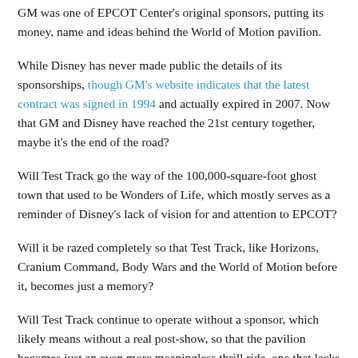GM was one of EPCOT Center's original sponsors, putting its money, name and ideas behind the World of Motion pavilion.
While Disney has never made public the details of its sponsorships, though GM's website indicates that the latest contract was signed in 1994 and actually expired in 2007. Now that GM and Disney have reached the 21st century together, maybe it's the end of the road?
Will Test Track go the way of the 100,000-square-foot ghost town that used to be Wonders of Life, which mostly serves as a reminder of Disney's lack of vision for and attention to EPCOT?
Will it be razed completely so that Test Track, like Horizons, Cranium Command, Body Wars and the World of Motion before it, becomes just a memory?
Will Test Track continue to operate without a sponsor, which likely means without a real post-show, so that the pavilion becomes just an even more meaningless thrill ride, one that lacks any theme or purpose?